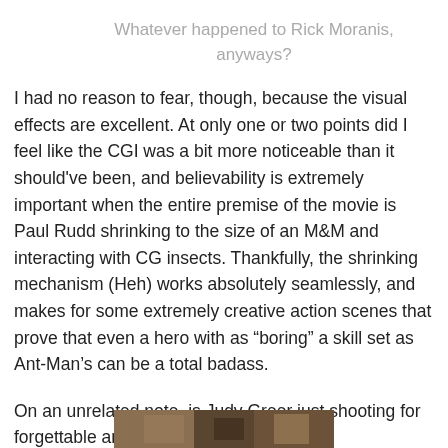Whatever happened to Rick Moranis, anyways?
I had no reason to fear, though, because the visual effects are excellent. At only one or two points did I feel like the CGI was a bit more noticeable than it should've been, and believability is extremely important when the entire premise of the movie is Paul Rudd shrinking to the size of an M&M and interacting with CG insects. Thankfully, the shrinking mechanism (Heh) works absolutely seamlessly, and makes for some extremely creative action scenes that prove that even a hero with as “boring” a skill set as Ant-Man’s can be a total badass.
On an unrelated note, is Judy Greer just shooting for forgettable ancillary characters now?
[Figure (photo): Partial view of a photo at the bottom of the page]